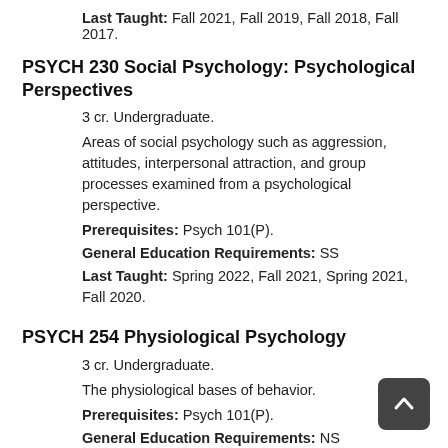Last Taught: Fall 2021, Fall 2019, Fall 2018, Fall 2017.
PSYCH 230 Social Psychology: Psychological Perspectives
3 cr. Undergraduate.
Areas of social psychology such as aggression, attitudes, interpersonal attraction, and group processes examined from a psychological perspective.
Prerequisites: Psych 101(P).
General Education Requirements: SS
Last Taught: Spring 2022, Fall 2021, Spring 2021, Fall 2020.
PSYCH 254 Physiological Psychology
3 cr. Undergraduate.
The physiological bases of behavior.
Prerequisites: Psych 101(P).
General Education Requirements: NS
Last Taught: Spring 2022, Fall 2021, Summer 2021, Spring 2021.